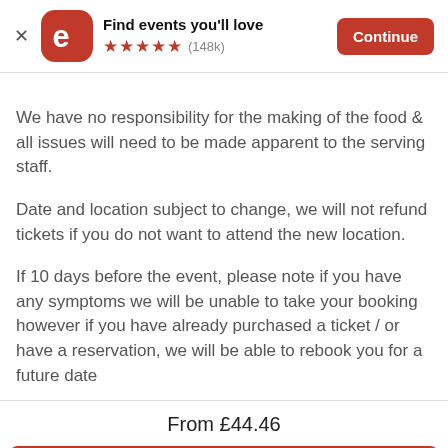[Figure (screenshot): Eventbrite app banner with logo, star rating (148k reviews), and Continue button]
We have no responsibility for the making of the food & all issues will need to be made apparent to the serving staff.
Date and location subject to change, we will not refund tickets if you do not want to attend the new location.
If 10 days before the event, please note if you have any symptoms we will be unable to take your booking however if you have already purchased a ticket / or have a reservation, we will be able to rebook you for a future date
From £44.46
Select a date